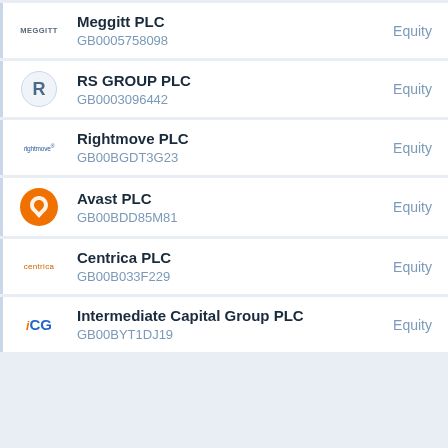Meggitt PLC GB0005758098 Equity
RS GROUP PLC GB0003096442 Equity
Rightmove PLC GB00BGDT3G23 Equity
Avast PLC GB00BDD85M81 Equity
Centrica PLC GB00B033F229 Equity
Intermediate Capital Group PLC GB00BYT1DJ19 Equity